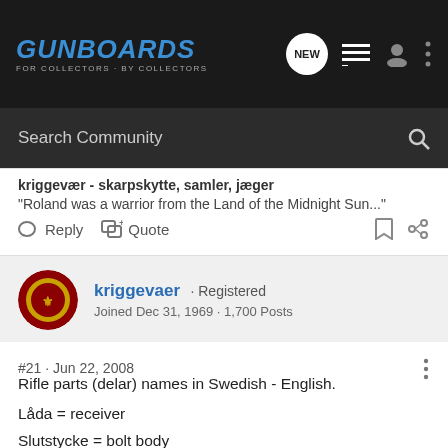GUNBOARDS - FOR COLLECTORS · BY COLLECTORS
Search Community
kriggevær - skarpskytte, samler, jæger
"Roland was a warrior from the Land of the Midnight Sun..."
Reply   Quote
kriggevaer · Registered
Joined Dec 31, 1969 · 1,700 Posts
#21 · Jun 22, 2008
Rifle parts (delar) names in Swedish - English.

Låda = receiver
Slutstycke = bolt body
Tändstiftsmutter, kort slaglängd = cocking piece, shortened stroke length